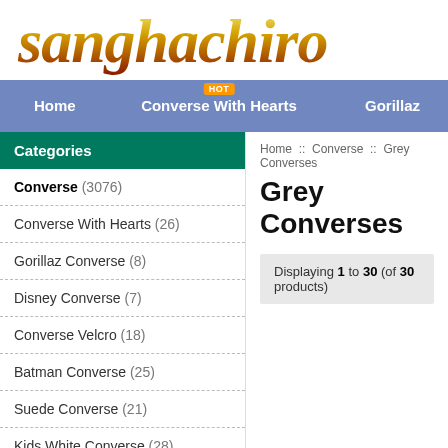sanghachiro
Home  |  Converse With Hearts  |  Gorillaz
Home :: Converse :: Grey Converses
Grey Converses
Displaying 1 to 30 (of 30 products)
Categories
Converse (3076)
Converse With Hearts (26)
Gorillaz Converse (8)
Disney Converse (7)
Converse Velcro (18)
Batman Converse (25)
Suede Converse (21)
Kids White Converse (28)